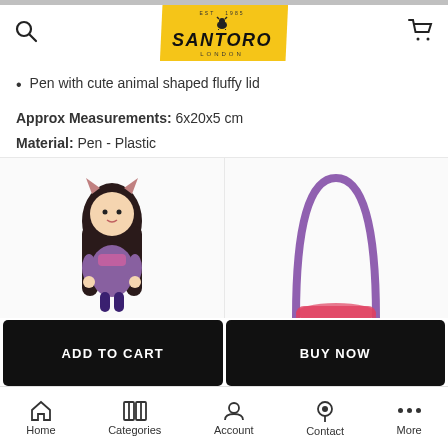Santoro London
Pen with cute animal shaped fluffy lid
Approx Measurements: 6x20x5 cm
Material: Pen - Plastic
Fluffy Lid - Polyester
Ears - PU
Related Products
[Figure (photo): Gorjuss doll figurine with dark hair and cat ears]
[Figure (photo): Product with purple arch/handle, partially visible]
ADD TO CART
BUY NOW
Home | Categories | Account | Contact | More